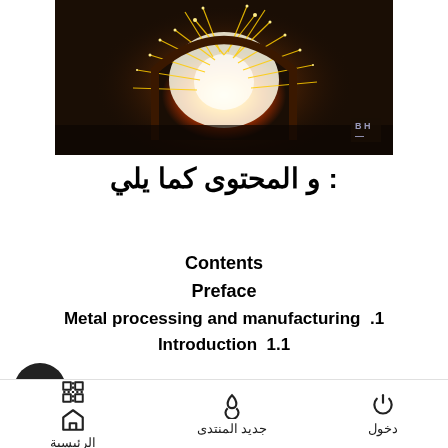[Figure (photo): Industrial furnace with bright flames and sparks flying, metal manufacturing scene with BH watermark in bottom right corner]
و المحتوى كما يلي :
Contents
Preface
Metal processing and manufacturing .1
Introduction 1.1
The manufacturing engineering 1.2 discipline
الرئيسية | جديد المنتدى | دخول